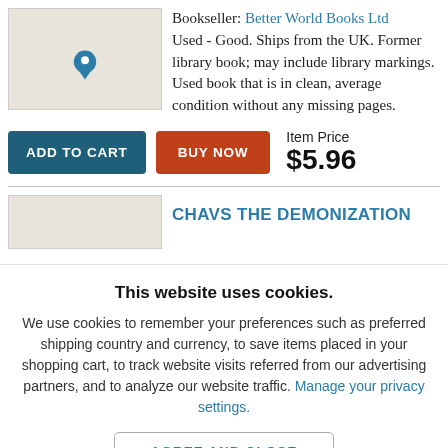[Figure (illustration): Book thumbnail placeholder image with a location pin icon on beige background]
Bookseller: Better World Books Ltd
Used - Good. Ships from the UK. Former library book; may include library markings. Used book that is in clean, average condition without any missing pages.
Item Price $5.96
[Figure (screenshot): ADD TO CART button (dark teal) and BUY NOW button (dark red/orange)]
[Figure (illustration): Second book thumbnail placeholder on beige background]
CHAVS THE DEMONIZATION
This website uses cookies.
We use cookies to remember your preferences such as preferred shipping country and currency, to save items placed in your shopping cart, to track website visits referred from our advertising partners, and to analyze our website traffic. Manage your privacy settings.
AGREE AND CLOSE